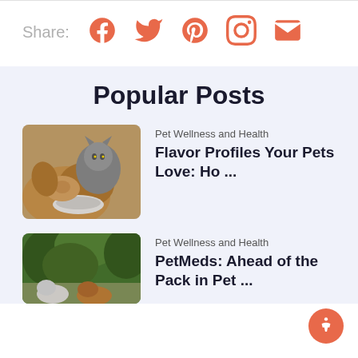Share: [Facebook] [Twitter] [Pinterest] [Instagram] [Email]
Popular Posts
[Figure (photo): A golden retriever dog and a grey cat sharing a food bowl]
Pet Wellness and Health
Flavor Profiles Your Pets Love: Ho ...
[Figure (photo): Outdoor photo with dogs and greenery visible at bottom]
Pet Wellness and Health
PetMeds: Ahead of the Pack in Pet ...